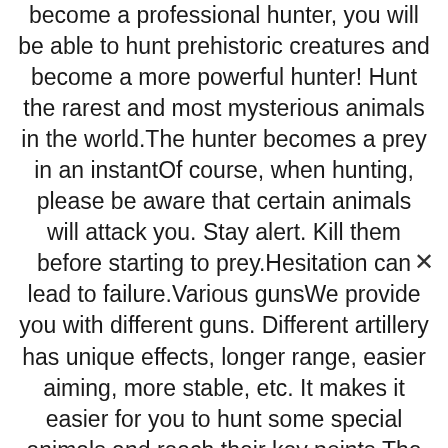become a professional hunter, you will be able to hunt prehistoric creatures and become a more powerful hunter! Hunt the rarest and most mysterious animals in the world.The hunter becomes a prey in an instantOf course, when hunting, please be aware that certain animals will attack you. Stay alert. Kill them before starting to prey.Hesitation can lead to failure.Various gunsWe provide you with different guns. Different artillery has unique effects, longer range, easier aiming, more stable, etc. It makes it easier for you to hunt some special animals and reach their key points.The ultimate hunting experience for Deer Archer.